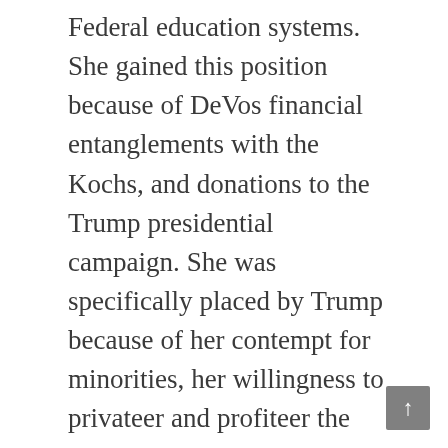Federal education systems. She gained this position because of DeVos financial entanglements with the Kochs, and donations to the Trump presidential campaign. She was specifically placed by Trump because of her contempt for minorities, her willingness to privateer and profiteer the student loan programs, her lack of support for students with disabilities and special needs, and her general opposition to public education in general. Her connections with the